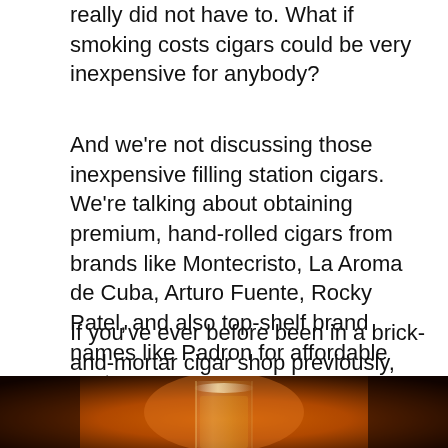really did not have to. What if smoking costs cigars could be very inexpensive for anybody?
And we're not discussing those inexpensive filling station cigars. We're talking about obtaining premium, hand-rolled cigars from brands like Montecristo, La Aroma de Cuba, Arturo Fuente, Rocky Patel, and also top-shelf brand names like Padron for affordable costs.
If you've ever before been in a brick-and-mortar cigar shop previously, you recognize sticks from those brands price at least $8-10 each. Heck, cigars from Padron can easily fetch over $25 a piece!
[Figure (photo): Photo showing a glass (likely wine or brandy glass) with warm amber/orange tones, cigar shop atmosphere]